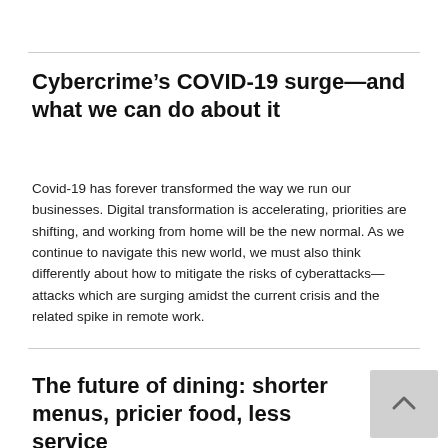Cybercrime’s COVID-19 surge—and what we can do about it
Covid-19 has forever transformed the way we run our businesses. Digital transformation is accelerating, priorities are shifting, and working from home will be the new normal. As we continue to navigate this new world, we must also think differently about how to mitigate the risks of cyberattacks—attacks which are surging amidst the current crisis and the related spike in remote work.
The future of dining: shorter menus, pricier food, less service